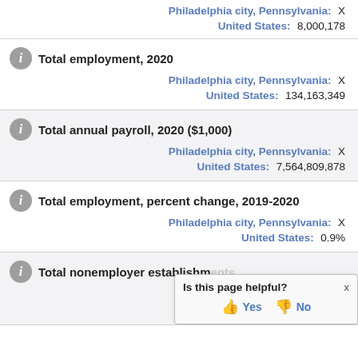Philadelphia city, Pennsylvania: X
United States: 8,000,178
Total employment, 2020
Philadelphia city, Pennsylvania: X
United States: 134,163,349
Total annual payroll, 2020 ($1,000)
Philadelphia city, Pennsylvania: X
United States: 7,564,809,878
Total employment, percent change, 2019-2020
Philadelphia city, Pennsylvania: X
United States: 0.9%
Total nonemployer establishments
Philadelphia city, Pennsylvania: X
[Figure (other): Tooltip popup asking 'Is this page helpful?' with Yes and No buttons]